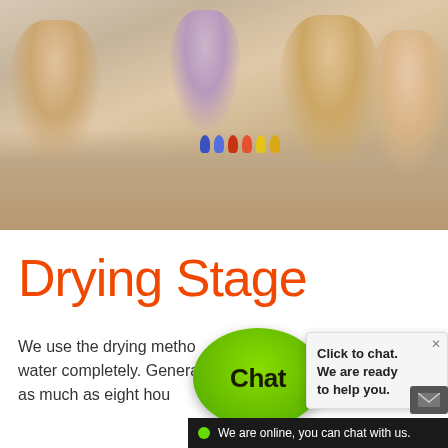[Figure (photo): Children lying on a beige carpet playing a board game with colorful game pieces. Four children visible, smiling. Photo fills top portion of page.]
Drying Stage
We use the drying method to remove water completely. Generally, standard drying takes as much as eight hou...
[Figure (screenshot): Live chat widget overlay: green speech bubble with 'Chat' text, callout box saying 'Click to chat. We are ready to help you.' with close X, and bottom bar showing 'We are online, you can chat with us.' with green dot.]